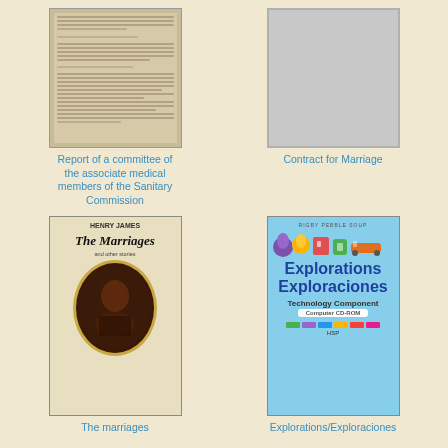[Figure (photo): Old scanned document page with text lines]
[Figure (photo): Blank grey rectangle representing Contract for Marriage cover]
Report of a committee of the associate medical members of the Sanitary Commission
Contract for Marriage
[Figure (photo): Book cover: Henry James The Marriages and other stories, with oval portrait illustration]
[Figure (photo): Explorations/Exploraciones Technology Component Computer CD-ROM cover by Rigby Pebble Soup]
The marriages
Explorations/Exploraciones